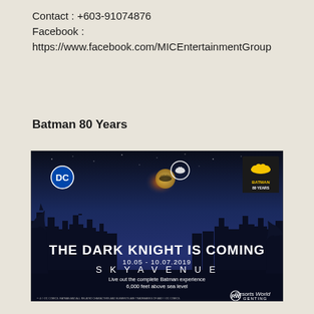Contact : +603-91074876
Facebook :
https://www.facebook.com/MICEntertainmentGroup
Batman 80 Years
[Figure (illustration): Batman 80 Years promotional banner for SkyAvenue, Resorts World Genting. Dark blue night sky background with a cityscape silhouette. Shows DC logo, Batman logo signal in sky, and Batman 80 Years badge. Text reads: THE DARK KNIGHT IS COMING, 10.05 - 10.07.2019, SKYAVENUE, Live out the complete Batman experience, 6,000 feet above sea level. Resorts World Genting logo bottom right.]